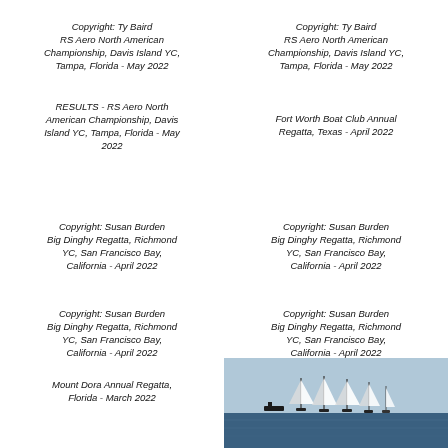Copyright: Ty Baird RS Aero North American Championship, Davis Island YC, Tampa, Florida - May 2022
Copyright: Ty Baird RS Aero North American Championship, Davis Island YC, Tampa, Florida - May 2022
RESULTS - RS Aero North American Championship, Davis Island YC, Tampa, Florida - May 2022
Fort Worth Boat Club Annual Regatta, Texas - April 2022
Copyright: Susan Burden Big Dinghy Regatta, Richmond YC, San Francisco Bay, California - April 2022
Copyright: Susan Burden Big Dinghy Regatta, Richmond YC, San Francisco Bay, California - April 2022
Copyright: Susan Burden Big Dinghy Regatta, Richmond YC, San Francisco Bay, California - April 2022
Copyright: Susan Burden Big Dinghy Regatta, Richmond YC, San Francisco Bay, California - April 2022
Mount Dora Annual Regatta, Florida - March 2022
[Figure (photo): Sailing boats on water with masts visible against a light sky, racing in a regatta]